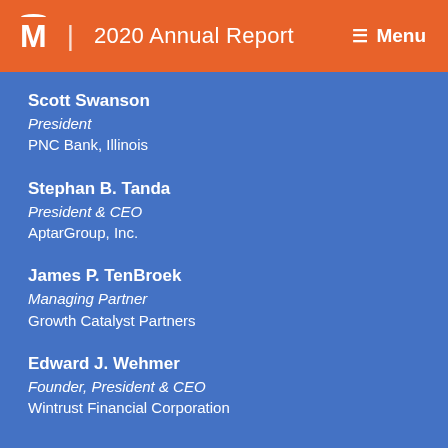M | 2020 Annual Report  ≡ Menu
Scott Swanson
President
PNC Bank, Illinois
Stephan B. Tanda
President & CEO
AptarGroup, Inc.
James P. TenBroek
Managing Partner
Growth Catalyst Partners
Edward J. Wehmer
Founder, President & CEO
Wintrust Financial Corporation